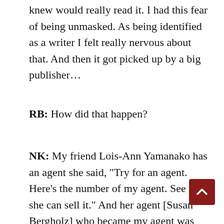knew would really read it. I had this fear of being unmasked. As being identified as a writer I felt really nervous about that. And then it got picked up by a big publisher…
RB: How did that happen?
NK: My friend Lois-Ann Yamanako has an agent she said, "Try for an agent. Here's the number of my agent. See if she can sell it." And her agent [Susan Bergholz] who became my agent was able to sell it. She's great. She's very special. I did talk to a couple of other agents before signing with Susan. A couple of the agents were like, " I can get you the most money." They didn't fo on the work. The attention seemed wrong to me and the